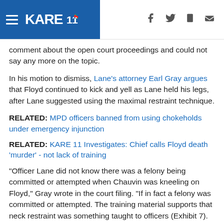KARE 11
comment about the open court proceedings and could not say any more on the topic.
In his motion to dismiss, Lane's attorney Earl Gray argues that Floyd continued to kick and yell as Lane held his legs, after Lane suggested using the maximal restraint technique.
RELATED: MPD officers banned from using chokeholds under emergency injunction
RELATED: KARE 11 Investigates: Chief calls Floyd death 'murder' - not lack of training
"Officer Lane did not know there was a felony being committed or attempted when Chauvin was kneeling on Floyd," Gray wrote in the court filing. "If in fact a felony was committed or attempted. The training material supports that neck restraint was something taught to officers (Exhibit 7).